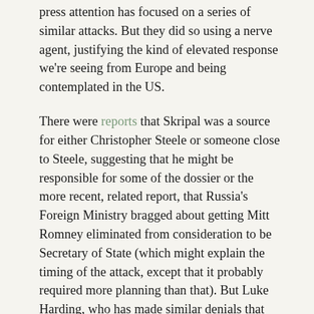press attention has focused on a series of similar attacks. But they did so using a nerve agent, justifying the kind of elevated response we're seeing from Europe and being contemplated in the US.
There were reports that Skripal was a source for either Christopher Steele or someone close to Steele, suggesting that he might be responsible for some of the dossier or the more recent, related report, that Russia's Foreign Ministry bragged about getting Mitt Romney eliminated from consideration to be Secretary of State (which might explain the timing of the attack, except that it probably required more planning than that). But Luke Harding, who has made similar denials that other deaths are related to the dossier, denies that's the case.